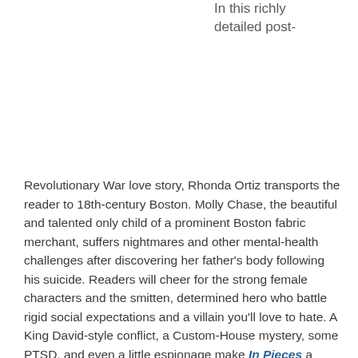In this richly detailed post-
Revolutionary War love story, Rhonda Ortiz transports the reader to 18th-century Boston. Molly Chase, the beautiful and talented only child of a prominent Boston fabric merchant, suffers nightmares and other mental-health challenges after discovering her father's body following his suicide. Readers will cheer for the strong female characters and the smitten, determined hero who battle rigid social expectations and a villain you'll love to hate. A King David-style conflict, a Custom-House mystery, some PTSD, and even a little espionage make In Pieces a